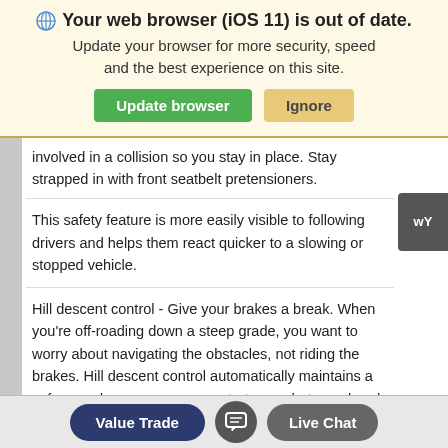[Figure (screenshot): Browser update warning banner with globe icon, bold title 'Your web browser (iOS 11) is out of date.', subtitle text, and two buttons: 'Update browser' (green) and 'Ignore' (tan/yellow)]
involved in a collision so you stay in place. Stay strapped in with front seatbelt pretensioners.
This safety feature is more easily visible to following drivers and helps them react quicker to a slowing or stopped vehicle.
Hill descent control - Give your brakes a break. When you're off-roading down a steep grade, you want to worry about navigating the obstacles, not riding the brakes. Hill descent control automatically maintains a safe speed so you can concentrate on what your hands
[Figure (screenshot): Bottom navigation bar with 'Value Trade' button (dark blue/navy, rounded), a chat icon button (dark grey, rounded), and 'Live Chat' button (dark grey, rounded)]